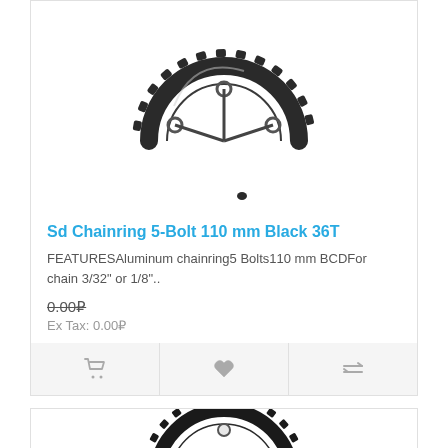[Figure (photo): Bicycle chainring, black aluminum, 5-bolt, 110mm BCD, partial top view on white background]
Sd Chainring 5-Bolt 110 mm Black 36T
FEATURESAluminum chainring5 Bolts110 mm BCDFor chain 3/32" or 1/8"..
0.00₽
Ex Tax: 0.00₽
[Figure (photo): Second bicycle chainring product, black, partial view at bottom of page]